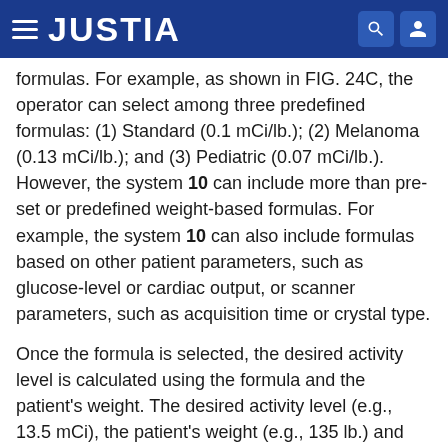JUSTIA
formulas. For example, as shown in FIG. 24C, the operator can select among three predefined formulas: (1) Standard (0.1 mCi/lb.); (2) Melanoma (0.13 mCi/lb.); and (3) Pediatric (0.07 mCi/lb.). However, the system 10 can include more than pre-set or predefined weight-based formulas. For example, the system 10 can also include formulas based on other patient parameters, such as glucose-level or cardiac output, or scanner parameters, such as acquisition time or crystal type.
Once the formula is selected, the desired activity level is calculated using the formula and the patient's weight. The desired activity level (e.g., 13.5 mCi), the patient's weight (e.g., 135 lb.) and the formula (e.g., 0.1 mCi/lb.) are displayed in field 1006 and the screen display 100 indicates that the “System is ready”, as shown in FIG. 24D.